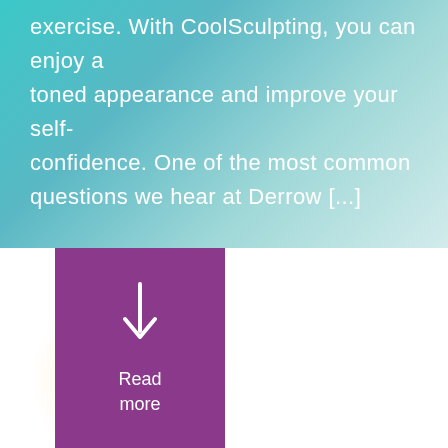exercise. With CoolSculpting, you can enjoy a toned appearance and improve your self-confidence. One of the most common questions we hear at Derrow [...]
Written By Nathan .
On April 23, 2019
[Figure (illustration): Purple 'Read more' button with a downward arrow icon and the text 'Read more' centered below the arrow]